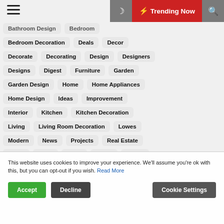☰  🌙  ⚡ Trending Now  🔍
Bathroom Design
Bedroom
Bedroom Decoration
Deals
Decor
Decorate
Decorating
Design
Designers
Designs
Digest
Furniture
Garden
Garden Design
Home
Home Appliances
Home Design
Ideas
Improvement
Interior
Kitchen
Kitchen Decoration
Living
Living Room Decoration
Lowes
Modern
News
Projects
Real Estate
Room
Show
Small
Space
Spring
Style
Stylish
Swimming Pool Design
Tips
This website uses cookies to improve your experience. We'll assume you're ok with this, but you can opt-out if you wish. Read More
Accept  Decline  Cookie Settings